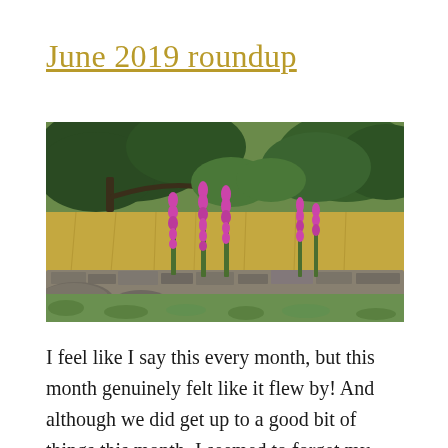June 2019 roundup
[Figure (photo): Outdoor countryside scene with a dry stone wall in the foreground, pink foxglove flowers growing among tall grass, and green trees in the background under a bright sky.]
I feel like I say this every month, but this month genuinely felt like it flew by! And although we did get up to a good bit of things this month, I seemed to forget my camera for